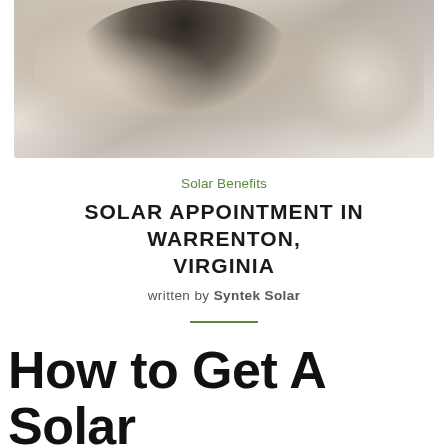[Figure (photo): Close-up photo of a person wearing a white/cream blazer with buttons, arms crossed or folded, neutral background tones]
Solar Benefits
SOLAR APPOINTMENT IN WARRENTON, VIRGINIA
written by Syntek Solar
How to Get A Solar Appointment In Warrenton, Virginia